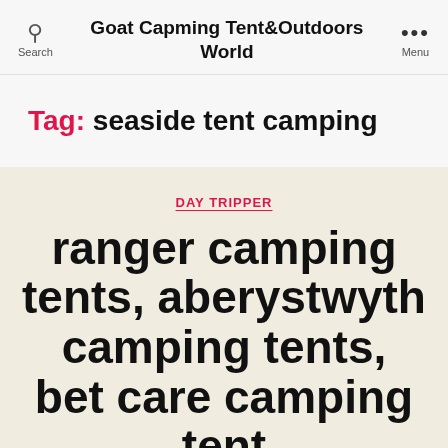Goat Capming Tent&Outdoors World
Tag: seaside tent camping
DAY TRIPPER
ranger camping tents, aberystwyth camping tents, bet care camping tent